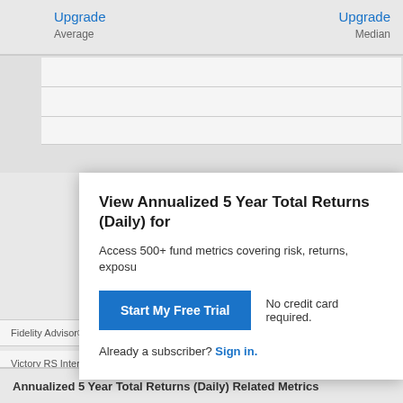Upgrade
Average
Upgrade
Median
View Annualized 5 Year Total Returns (Daily) for
Access 500+ fund metrics covering risk, returns, exposu
Start My Free Trial
No credit card required.
Already a subscriber? Sign in.
Fidelity Advisor® Total Intl Equity C
Victory RS International C
Annualized 5 Year Total Returns (Daily) Related Metrics